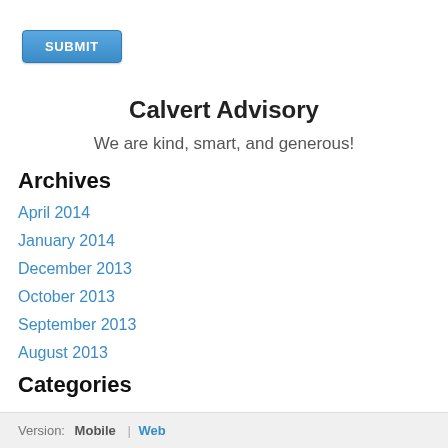[Figure (other): Blue SUBMIT button]
Calvert Advisory
We are kind, smart, and generous!
Archives
April 2014
January 2014
December 2013
October 2013
September 2013
August 2013
Categories
All
RSS Feed
Version: Mobile | Web